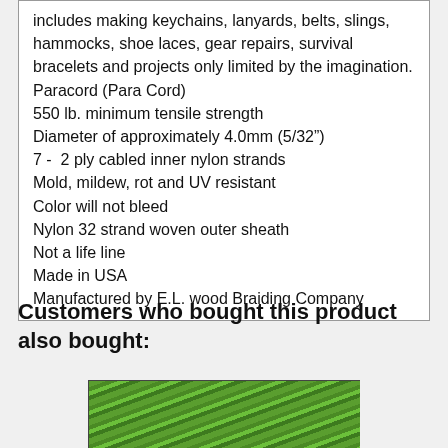includes making keychains, lanyards, belts, slings, hammocks, shoe laces, gear repairs, survival bracelets and projects only limited by the imagination.
Paracord (Para Cord)
550 lb. minimum tensile strength
Diameter of approximately 4.0mm (5/32")
7 -  2 ply cabled inner nylon strands
Mold, mildew, rot and UV resistant
Color will not bleed
Nylon 32 strand woven outer sheath
Not a life line
Made in USA
Manufactured by E.L. wood Braiding Company
Customers who bought this product also bought:
[Figure (photo): Close-up photo of green paracord strands woven together]